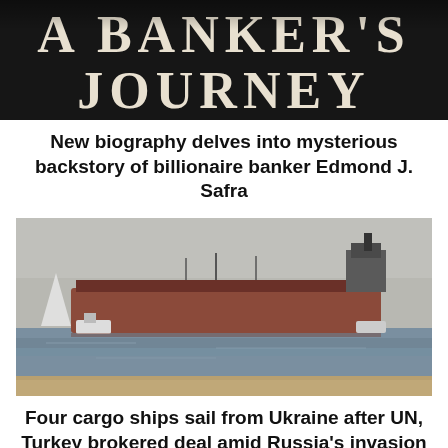[Figure (photo): Book cover image showing text 'A BANKER'S JOURNEY' in large serif letters on a dark background]
New biography delves into mysterious backstory of billionaire banker Edmond J. Safra
[Figure (photo): Photograph of a large cargo ship on the water near a sandy shore, with smaller vessels visible alongside it, under a hazy grey sky]
Four cargo ships sail from Ukraine after UN, Turkey brokered deal amid Russia's invasion